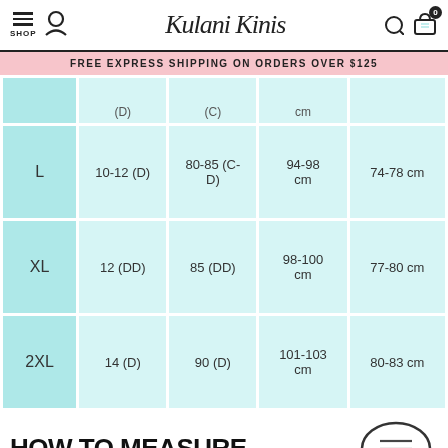Kulani Kinis — SHOP, user icon, search, cart (0)
FREE EXPRESS SHIPPING ON ORDERS OVER $125
| Size | AU/US Size | Band (cm) | Bust (cm) | Waist (cm) |
| --- | --- | --- | --- | --- |
| L | 10-12 (D) | 80-85 (C-D) | 94-98 cm | 74-78 cm |
| XL | 12 (DD) | 85 (DD) | 98-100 cm | 77-80 cm |
| 2XL | 14 (D) | 90 (D) | 101-103 cm | 80-83 cm |
HOW TO MEASURE YOURSELF
[Figure (illustration): Chat bubble icon with lines and CHAT label]